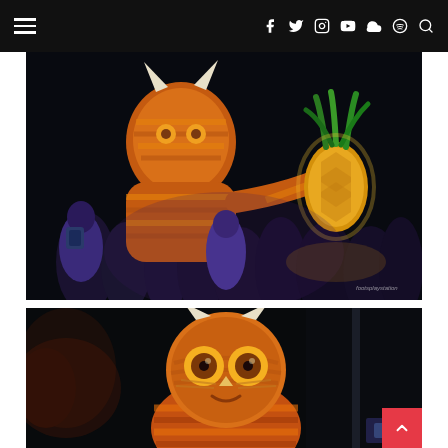Navigation bar with hamburger menu and social icons (Facebook, Twitter, Instagram, YouTube, SoundCloud, Spotify, Search)
[Figure (photo): Night festival scene with illuminated giant character lanterns — a large orange striped creature with a round head and horns on the left, a glowing pineapple lantern on the right, surrounded by a crowd of people. Watermark reads 'foothplaystation' in bottom right.]
[Figure (photo): Close-up night shot of an illuminated owl or wild thing lantern character with orange round eyes, striped body in orange/brown tones, horns, against a dark background. A red scroll-to-top button with chevron arrow is visible at bottom right.]